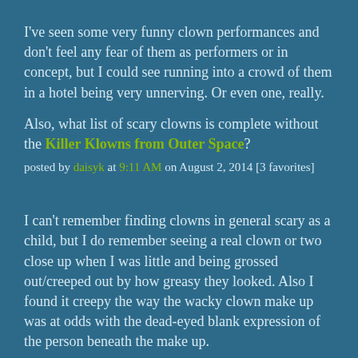I've seen some very funny clown performances and don't feel any fear of them as performers or in concept, but I could see running into a crowd of them in a hotel being very unnerving. Or even one, really.
Also, what list of scary clowns is complete without the Killer Klowns from Outer Space?
posted by daisyk at 9:11 AM on August 2, 2014 [3 favorites]
I can't remember finding clowns in general scary as a child, but I do remember seeing a real clown or two close up when I was little and being grossed out/creeped out by how greasy they looked. Also I found it creepy the way the wacky clown make up was at odds with the dead-eyed blank expression of the person beneath the make up.
posted by cropshy at 9:24 AM on August 2, 2014 [1 favorite]